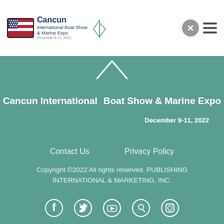Cancun International Boat Show & Marine Expo — December 9-11, 2022
[Figure (logo): Cancun International Boat Show & Marine Expo logo with sailboat graphic, white on teal background, December 9-11, 2022]
Contact Us    Privacy Policy
Copyright ©2022 All rights reserved. PUBLISHING INTERNATIONAL & MARKETING, INC.
[Figure (other): Social media icons: Facebook, Twitter, YouTube, Pinterest, Instagram — white icons on teal background]